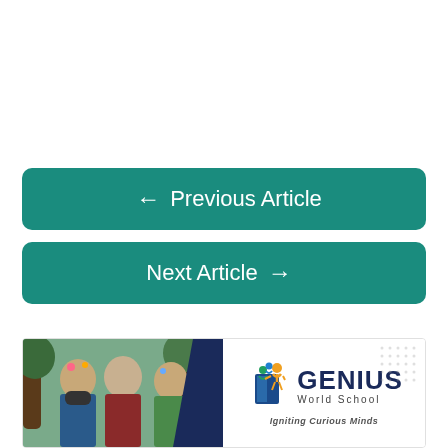← Previous Article
Next Article →
[Figure (logo): Genius World School banner with children photo on left and school logo on right. Logo shows stylized figures with book icon, text GENIUS World School, Igniting Curious Minds]